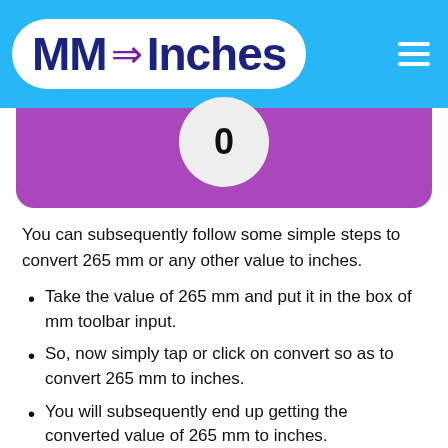MM → Inches
[Figure (other): Converter widget showing result circle with value 0 on purple background]
You can subsequently follow some simple steps to convert 265 mm or any other value to inches.
Take the value of 265 mm and put it in the box of mm toolbar input.
So, now simply tap or click on convert so as to convert 265 mm to inches.
You will subsequently end up getting the converted value of 265 mm to inches.
M